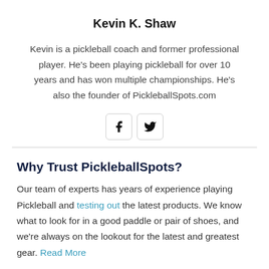Kevin K. Shaw
Kevin is a pickleball coach and former professional player. He's been playing pickleball for over 10 years and has won multiple championships. He's also the founder of PickleballSpots.com
[Figure (illustration): Social media icons: Facebook and Twitter, each in a rounded square button]
Why Trust PickleballSpots?
Our team of experts has years of experience playing Pickleball and testing out the latest products. We know what to look for in a good paddle or pair of shoes, and we're always on the lookout for the latest and greatest gear. Read More